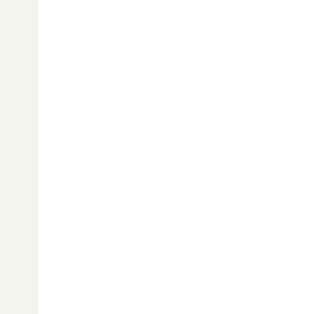Air Max 2016 for sale, nike air max 2016 traine Fashic